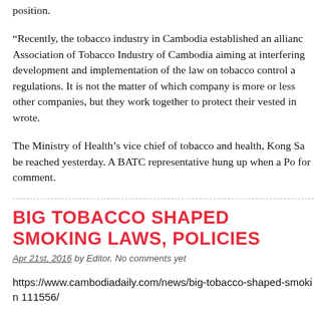position.
“Recently, the tobacco industry in Cambodia established an alliance Association of Tobacco Industry of Cambodia aiming at interfering development and implementation of the law on tobacco control and regulations. It is not the matter of which company is more or less other companies, but they work together to protect their vested interests,” wrote.
The Ministry of Health’s vice chief of tobacco and health, Kong San be reached yesterday. A BATC representative hung up when a Post reporter called for comment.
BIG TOBACCO SHAPED SMOKING LAWS, POLICIES
Apr 21st, 2016 by Editor. No comments yet
https://www.cambodiadaily.com/news/big-tobacco-shaped-smoking-laws-policies-111556/
In 2008, British American Tobacco (BAT) was awarded its third str